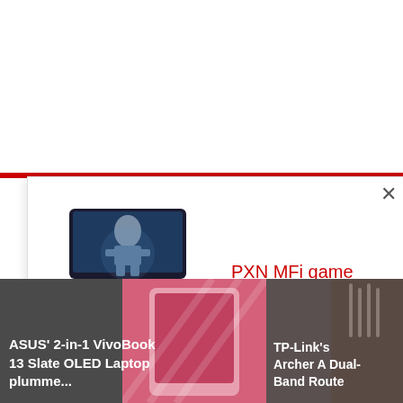[Figure (screenshot): Red horizontal bar at top of modal overlay]
×
[Figure (photo): PXN MFi game controller with phone attached showing superhero game]
PXN MFi game controller
[Figure (photo): Akai MPK USB MIDI Keyboard with colorful pads]
Akai MPK USB MIDI Keyboard
ASUS' 2-in-1 VivoBook 13 Slate OLED Laptop plumme...
TP-Link's Archer A Dual-Band Route